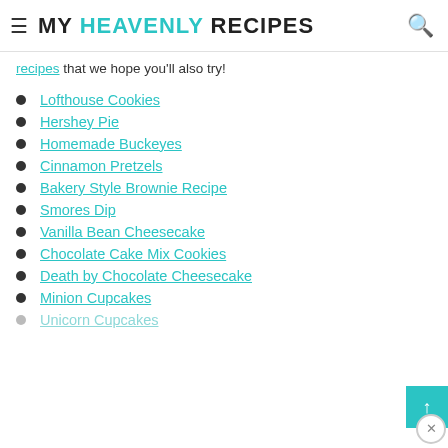MY HEAVENLY RECIPES
recipes that we hope you'll also try!
Lofthouse Cookies
Hershey Pie
Homemade Buckeyes
Cinnamon Pretzels
Bakery Style Brownie Recipe
Smores Dip
Vanilla Bean Cheesecake
Chocolate Cake Mix Cookies
Death by Chocolate Cheesecake
Minion Cupcakes
Unicorn Cupcakes